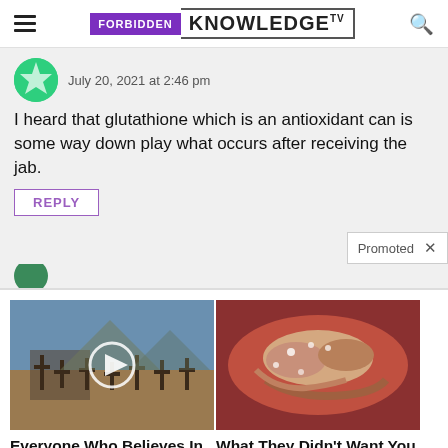FORBIDDEN KNOWLEDGE TV
July 20, 2021 at 2:46 pm
I heard that glutathione which is an antioxidant can is some way down play what occurs after receiving the jab.
REPLY
Promoted
[Figure (photo): Cemetery with crosses, outdoor daytime scene with play button overlay]
[Figure (photo): Medical illustration of internal organ, possibly pancreas]
Everyone Who Believes In God Should Watch This. It Will Blow Your Mind
Watch The Video
What They Didn't Want You Knowing About Metformin
Watch The Video